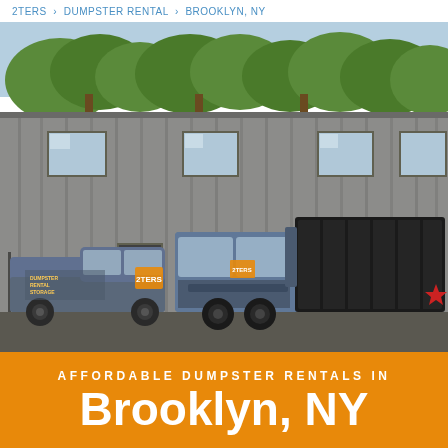ZTERS > DUMPSTER RENTAL > BROOKLYN, NY
[Figure (photo): Photo of 2TERS company facility showing a grey metal warehouse building with multiple windows, a branded pickup truck and a large roll-off truck carrying a dumpster parked in front. Trees visible in background behind building.]
AFFORDABLE DUMPSTER RENTALS IN
Brooklyn, NY